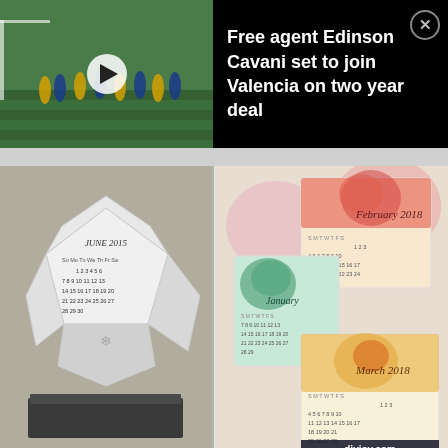[Figure (screenshot): News banner: video thumbnail of soccer/football players training on green pitch with play button overlay, alongside black background with white headline text and close (X) button]
Free agent Edinson Cavani set to join Valencia on two year deal
[Figure (photo): Left photo: white paper dodecahedron (12-sided calendar) showing June 2015 on one face, sitting on a dark textured square base, on a gray background. Right photo: colorful small card calendars for February 2018, January, and March 2018 with floral watercolor designs, featuring diyjoy.com watermark.]
3K   10   < 3K SHARES